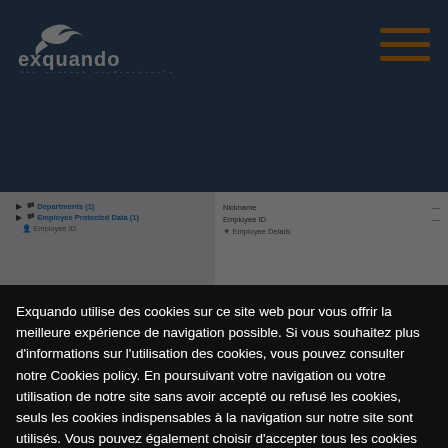[Figure (screenshot): Exquando website header with logo, navigation tree showing Departments(1) and Employee Protected Data(1), detail panel with Nickname and Employee ID fields showing dashes, hamburger menu with orange lines]
Exquando utilise des cookies sur ce site web pour vous offrir la meilleure expérience de navigation possible. Si vous souhaitez plus d'informations sur l'utilisation des cookies, vous pouvez consulter notre Cookies policy. En poursuivant votre navigation ou votre utilisation de notre site sans avoir accepté ou refusé les cookies, seuls les cookies indispensables à la navigation sur notre site sont utilisés. Vous pouvez également choisir d'accepter tous les cookies ou de personnaliser leur utilisation. Vous pouvez modifier vos préférences à tout moment via l'icône 🍪
Accepter
Configurer
Refuser